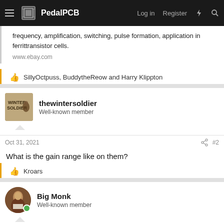PedalPCB — Log in  Register
frequency, amplification, switching, pulse formation, application in ferrittransistor cells.
www.ebay.com
👍 SillyOctpuss, BuddytheReow and Harry Klippton
thewintersoldier
Well-known member
Oct 31, 2021  #2
What is the gain range like on them?
👍 Kroars
Big Monk
Well-known member